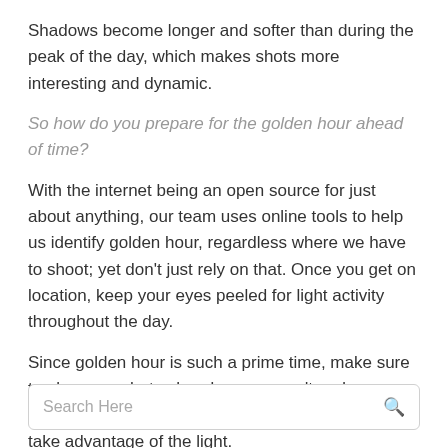Shadows become longer and softer than during the peak of the day, which makes shots more interesting and dynamic.
So how do you prepare for the golden hour ahead of time?
With the internet being an open source for just about anything, our team uses online tools to help us identify golden hour, regardless where we have to shoot; yet don't just rely on that. Once you get on location, keep your eyes peeled for light activity throughout the day.
Since golden hour is such a prime time, make sure to plan your shots ahead so you won't end up rushing. Schedule talent and clients appropriately to take advantage of the light.
Search Here